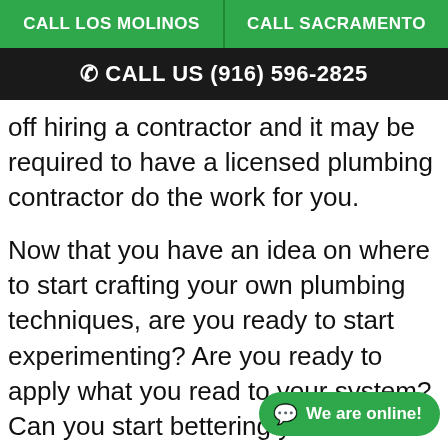CALL LOS MOLINOS | CALL SACRAMENTO
CALL US (916) 596-2825
off hiring a contractor and it may be required to have a licensed plumbing contractor do the work for you.
Now that you have an idea on where to start crafting your own plumbing techniques, are you ready to start experimenting? Are you ready to apply what you read to your system? Can you start bettering your home plumbing smartly and safely? If you can, then have fun! If not back through the tips again.
We are online!